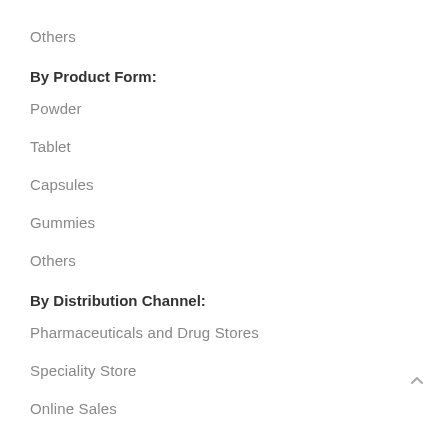Others
By Product Form:
Powder
Tablet
Capsules
Gummies
Others
By Distribution Channel:
Pharmaceuticals and Drug Stores
Speciality Store
Online Sales